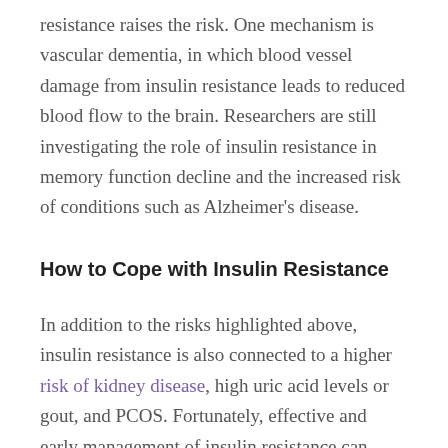resistance raises the risk. One mechanism is vascular dementia, in which blood vessel damage from insulin resistance leads to reduced blood flow to the brain. Researchers are still investigating the role of insulin resistance in memory function decline and the increased risk of conditions such as Alzheimer's disease.
How to Cope with Insulin Resistance
In addition to the risks highlighted above, insulin resistance is also connected to a higher risk of kidney disease, high uric acid levels or gout, and PCOS. Fortunately, effective and early management of insulin resistance can counter these risks.